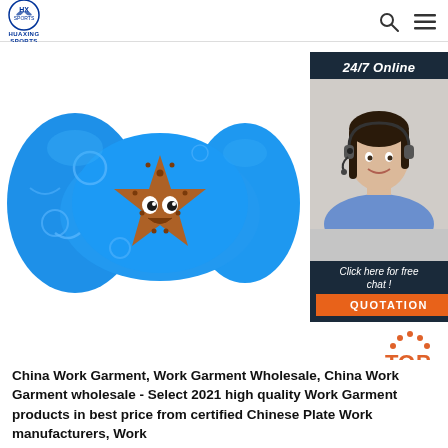HUAXING SPORTS
[Figure (photo): Blue children's swim floaties/arm bands with a cartoon starfish design on a white background, alongside a customer service chat widget showing a woman with a headset, '24/7 Online' label, 'Click here for free chat!' text, and an orange QUOTATION button.]
[Figure (logo): TOP icon with orange dots arranged in an arch above the letters TOP in orange]
China Work Garment, Work Garment Wholesale, China Work Garment wholesale - Select 2021 high quality Work Garment products in best price from certified Chinese Plate Work manufacturers, Work